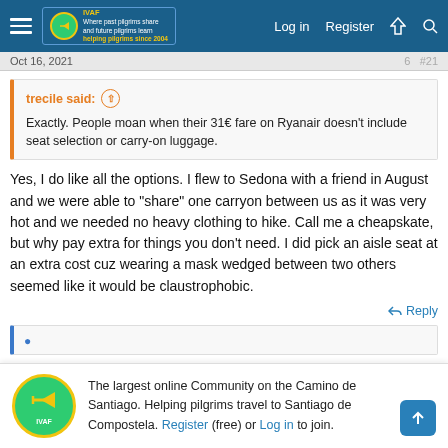Forum navigation bar with hamburger menu, IVAF logo, Log in, Register links
Oct 16, 2021  #21
trecile said: Exactly. People moan when their 31€ fare on Ryanair doesn't include seat selection or carry-on luggage.
Yes, I do like all the options. I flew to Sedona with a friend in August and we were able to "share" one carryon between us as it was very hot and we needed no heavy clothing to hike. Call me a cheapskate, but why pay extra for things you don't need. I did pick an aisle seat at an extra cost cuz wearing a mask wedged between two others seemed like it would be claustrophobic.
Reply
The largest online Community on the Camino de Santiago. Helping pilgrims travel to Santiago de Compostela. Register (free) or Log in to join.